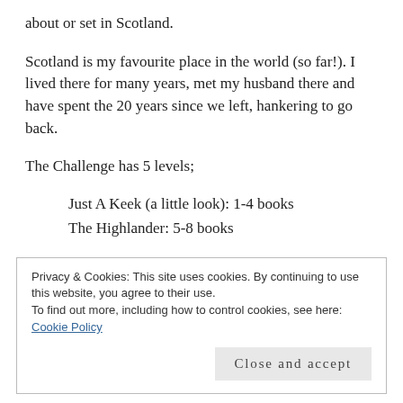about or set in Scotland.
Scotland is my favourite place in the world (so far!). I lived there for many years, met my husband there and have spent the 20 years since we left, hankering to go back.
The Challenge has 5 levels;
Just A Keek (a little look): 1-4 books
The Highlander: 5-8 books
Privacy & Cookies: This site uses cookies. By continuing to use this website, you agree to their use.
To find out more, including how to control cookies, see here: Cookie Policy
Close and accept